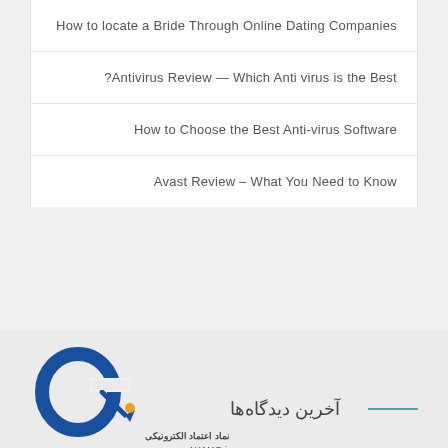How to locate a Bride Through Online Dating Companies
Antivirus Review — Which Anti virus is the Best?
How to Choose the Best Anti-virus Software
Avast Review – What You Need to Know
[Figure (logo): eNAMAD electronic trust logo — blue stylized 'e' with pen icon, Iranian e-commerce trust badge with www.eNAMAD.ir URL and Farsi text]
آخرین دیدگاه‌ها